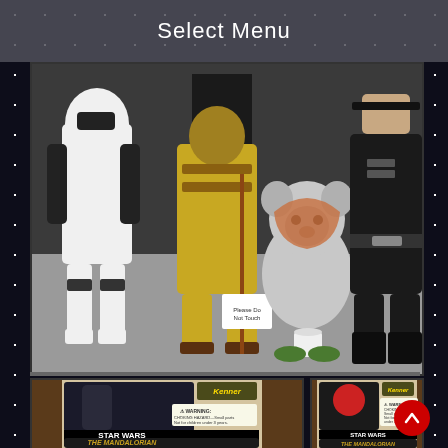Select Menu
[Figure (photo): Star Wars cosplayers at a convention: Stormtrooper, Bossk-like bounty hunter costume, Ewok costume, and Imperial officer in black uniform, standing indoors on gray carpet with a small white bucket and a 'Please Do Not Touch' sign]
[Figure (photo): Star Wars The Mandalorian action figure packaging (left), showing The Black Series Kenner-style retro packaging with WARNING label and STAR WARS THE MANDALORIAN logo]
[Figure (photo): Star Wars The Mandalorian action figure packaging (right), showing The Black Series Kenner-style retro packaging with WARNING label and STAR WARS THE MANDALORIAN logo]